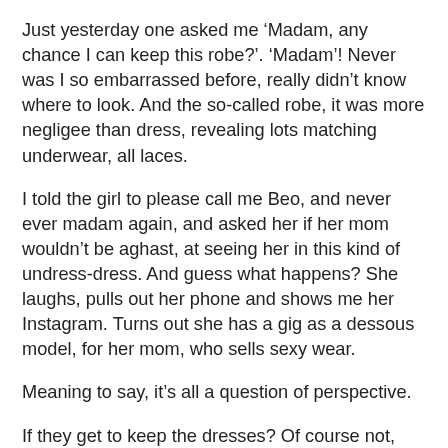Just yesterday one asked me ‘Madam, any chance I can keep this robe?’. ‘Madam’! Never was I so embarrassed before, really didn’t know where to look. And the so-called robe, it was more negligee than dress, revealing lots matching underwear, all laces.
I told the girl to please call me Beo, and never ever madam again, and asked her if her mom wouldn’t be aghast, at seeing her in this kind of undress-dress. And guess what happens? She laughs, pulls out her phone and shows me her Instagram. Turns out she has a gig as a dessous model, for her mom, who sells sexy wear.
Meaning to say, it’s all a question of perspective.
If they get to keep the dresses? Of course not, we’re one a budget. Meaning the girls always have to dress before makeup, and they get de-makeupped before they can change back into their own clothes. Always feel sorry for them, when I see them